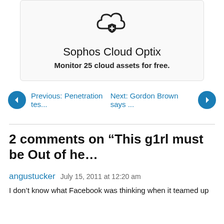[Figure (logo): Sophos Cloud Optix logo icon - cloud with shield and plus sign]
Sophos Cloud Optix
Monitor 25 cloud assets for free.
Previous: Penetration tes...
Next: Gordon Brown says ...
2 comments on “This g1rl must be Out of he…”
angustucker  July 15, 2011 at 12:20 am
I don’t know what Facebook was thinking when it teamed up